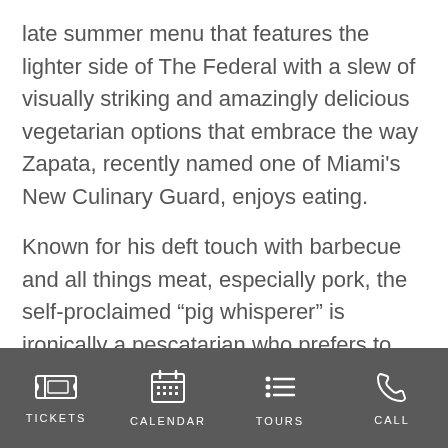late summer menu that features the lighter side of The Federal with a slew of visually striking and amazingly delicious vegetarian options that embrace the way Zapata, recently named one of Miami's New Culinary Guard, enjoys eating.

Known for his deft touch with barbecue and all things meat, especially pork, the self-proclaimed “pig whisperer” is ironically a pescatarian who prefers to eat light and healthy meals. “Don’t get me wrong,”
TICKETS | CALENDAR | TOURS | CALL